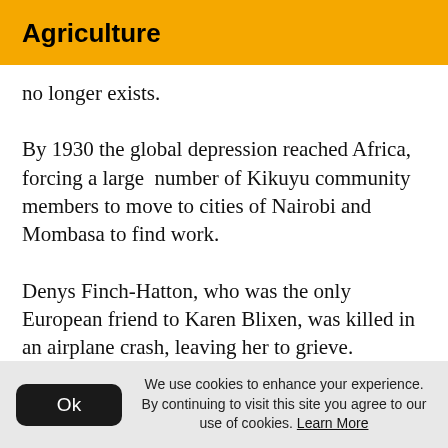Agriculture
no longer exists.
By 1930 the global depression reached Africa, forcing a large  number of Kikuyu community members to move to cities of Nairobi and Mombasa to find work.
Denys Finch-Hatton, who was the only European friend to Karen Blixen, was killed in an airplane crash, leaving her to grieve.
We use cookies to enhance your experience. By continuing to visit this site you agree to our use of cookies. Learn More